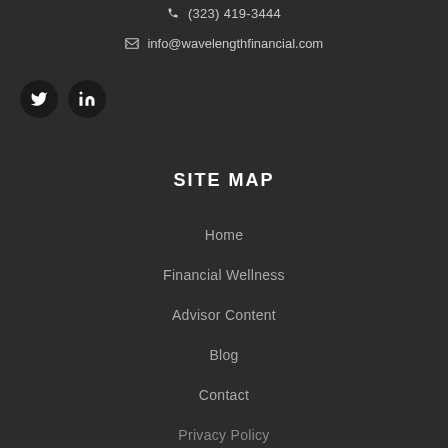(323) 419-3444
info@wavelengthfinancial.com
[Figure (other): Twitter and LinkedIn social media icon buttons (dark circular buttons with white icons)]
SITE MAP
Home
Financial Wellness
Advisor Content
Blog
Contact
Privacy Policy